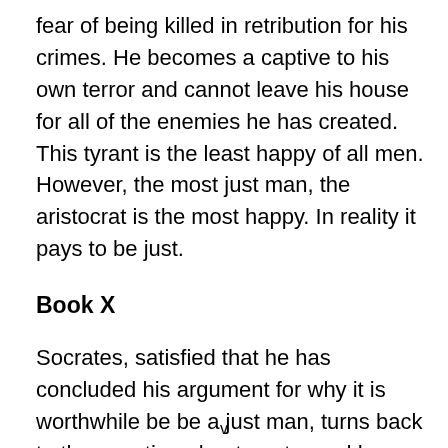fear of being killed in retribution for his crimes. He becomes a captive to his own terror and cannot leave his house for all of the enemies he has created. This tyrant is the least happy of all men. However, the most just man, the aristocrat is the most happy. In reality it pays to be just.
Book X
Socrates, satisfied that he has concluded his argument for why it is worthwhile be be a just man, turns back to the question about poetry and human beings. Surprisingly, he has banished all poets from the city. He feels that they are dangerous and unwholesome
v